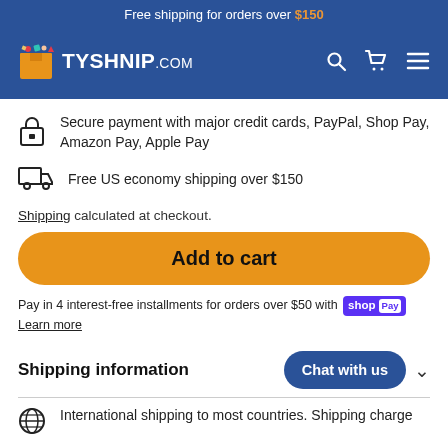Free shipping for orders over $150
[Figure (logo): TOYSHNIP.COM logo with colorful toy box graphic and navigation icons (search, cart, menu)]
Secure payment with major credit cards, PayPal, Shop Pay, Amazon Pay, Apple Pay
Free US economy shipping over $150
Shipping calculated at checkout.
Add to cart
Pay in 4 interest-free installments for orders over $50 with shop Pay
Learn more
Shipping information
International shipping to most countries. Shipping charge